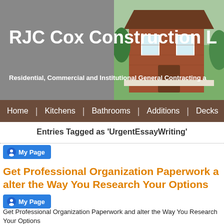RJC Cox Construction L...
Residential, Commercial and Institutional General Contracting a...
Home | Kitchens | Bathrooms | Additions | Decks |
Entries Tagged as 'UrgentEssayWriting'
[Figure (screenshot): Blue My Page button with person icon]
Get Professional Organization Paperwork a... alter the Way You Research Your Options
[Figure (screenshot): Blue My Page button with person icon]
Get Professional Organization Paperwork and alter the Way You Research Your Options
Any finance and marketing or advertising person can markedly take pleas...